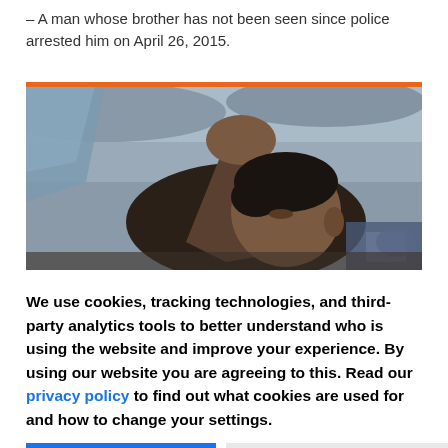– A man whose brother has not been seen since police arrested him on April 26, 2015.
[Figure (photo): A young man with dark hair is covering his face/forehead with his hand, eyes closed, appearing distressed. Background shows grey sky and scattered debris.]
We use cookies, tracking technologies, and third-party analytics tools to better understand who is using the website and improve your experience. By using our website you are agreeing to this. Read our privacy policy to find out what cookies are used for and how to change your settings.
Accept
Other options